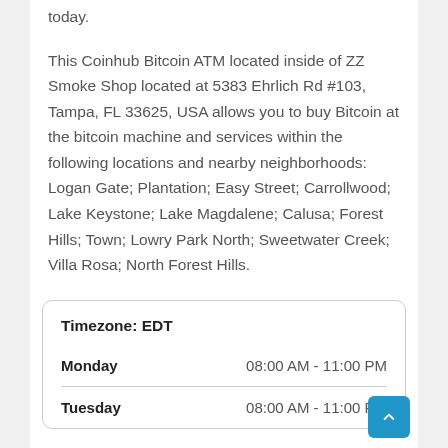today.
This Coinhub Bitcoin ATM located inside of ZZ Smoke Shop located at 5383 Ehrlich Rd #103, Tampa, FL 33625, USA allows you to buy Bitcoin at the bitcoin machine and services within the following locations and nearby neighborhoods: Logan Gate; Plantation; Easy Street; Carrollwood; Lake Keystone; Lake Magdalene; Calusa; Forest Hills; Town; Lowry Park North; Sweetwater Creek; Villa Rosa; North Forest Hills.
| Timezone: EDT |  |
| --- | --- |
| Monday | 08:00 AM - 11:00 PM |
| Tuesday | 08:00 AM - 11:00 PM |